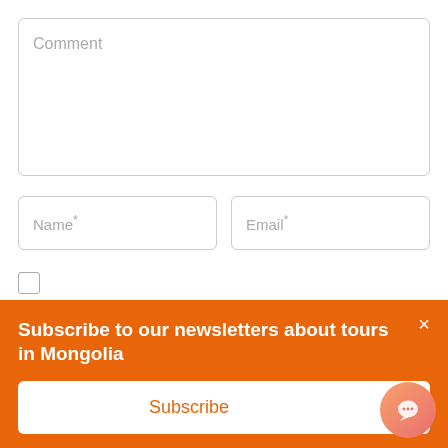Comment
Name*
Email*
Save my name, email, and website in this browser for t…
Subscribe to our newsletters about tours in Mongolia
Subscribe